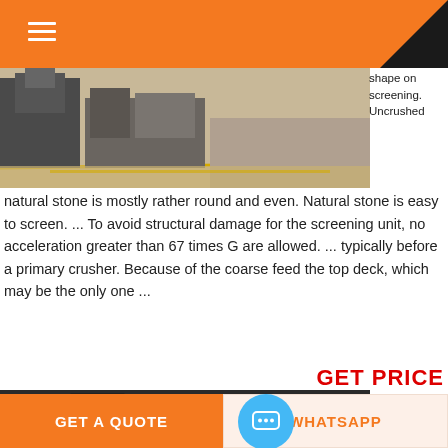[Figure (photo): Industrial machinery / warehouse equipment photo, top portion of page]
shape on screening. Uncrushed natural stone is mostly rather round and even. Natural stone is easy to screen. ... To avoid structural damage for the screening unit, no acceleration greater than 67 times G are allowed. ... typically before a primary crusher. Because of the coarse feed the top deck, which may be the only one ...
GET PRICE
[Figure (photo): Industrial crusher/screening machinery in factory]
tph typical mobile crushing screening unit
300 T...
GET A QUOTE    WHATSAPP